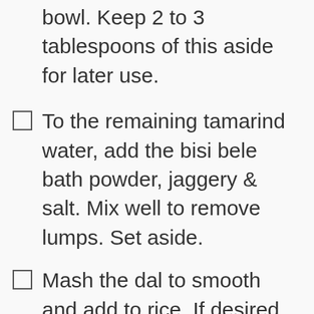bowl. Keep 2 to 3 tablespoons of this aside for later use.
To the remaining tamarind water, add the bisi bele bath powder, jaggery & salt. Mix well to remove lumps. Set aside.
Mash the dal to smooth and add to rice. If desired